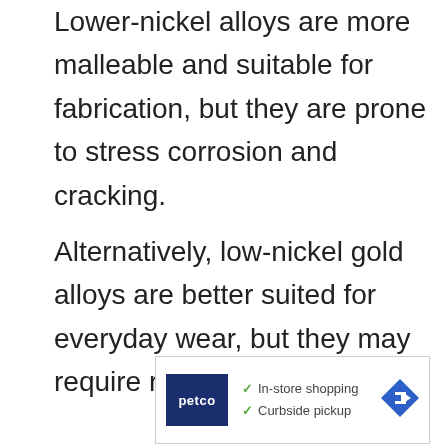Lower-nickel alloys are more malleable and suitable for fabrication, but they are prone to stress corrosion and cracking.
Alternatively, low-nickel gold alloys are better suited for everyday wear, but they may require rhodium plating.
[Figure (other): Petco advertisement showing logo, checkmarks for In-store shopping and Curbside pickup, and a blue diamond navigation arrow icon.]